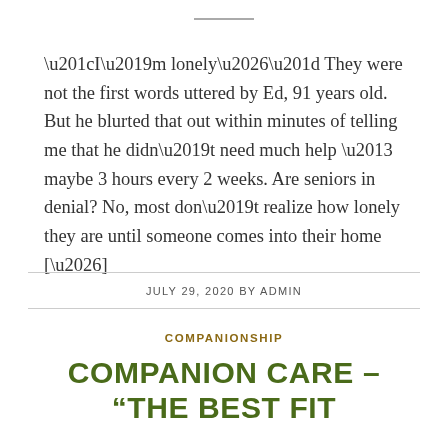“I’m lonely…” They were not the first words uttered by Ed, 91 years old.  But he blurted that out within minutes of telling me that he didn’t need much help – maybe 3 hours every 2 weeks.  Are seniors in denial?  No, most don’t realize how lonely they are until someone comes into their home […]
JULY 29, 2020 BY ADMIN
COMPANIONSHIP
COMPANION CARE – “THE BEST FIT